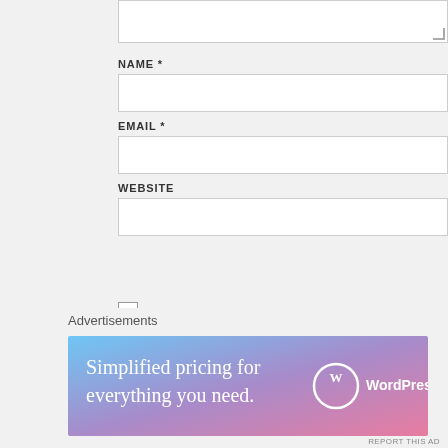[Figure (screenshot): Partial textarea (top of comment form) with resize handle in bottom-right corner]
NAME *
[Figure (screenshot): Empty text input field for Name]
EMAIL *
[Figure (screenshot): Empty text input field for Email]
WEBSITE
[Figure (screenshot): Empty text input field for Website]
[Figure (screenshot): Post Comment button]
NOTIFY ME OF NEW COMMENTS VIA EMAIL.
NOTIFY ME OF NEW POSTS VIA EMAIL.
Advertisements
[Figure (infographic): WordPress.com advertisement banner with gradient background (blue to pink/purple) showing text 'Simplified pricing for everything you need.' with WordPress.com logo]